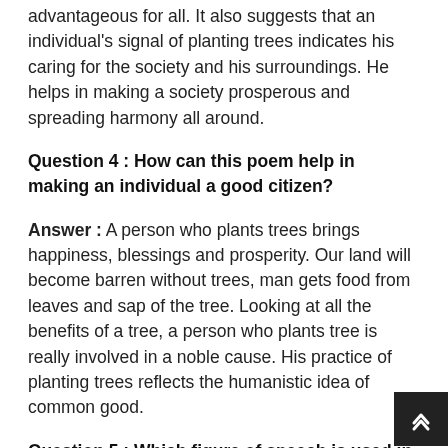advantageous for all. It also suggests that an individual's signal of planting trees indicates his caring for the society and his surroundings. He helps in making a society prosperous and spreading harmony all around.
Question 4 : How can this poem help in making an individual a good citizen?
Answer : A person who plants trees brings happiness, blessings and prosperity. Our land will become barren without trees, man gets food from leaves and sap of the tree. Looking at all the benefits of a tree, a person who plants tree is really involved in a noble cause. His practice of planting trees reflects the humanistic idea of common good.
Question 5 : Which figure of speech is used in last four lines of the poem?